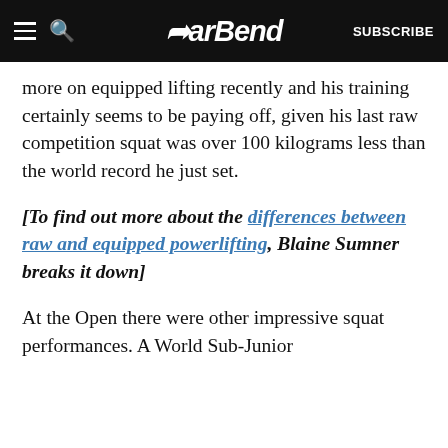BarBend — SUBSCRIBE
more on equipped lifting recently and his training certainly seems to be paying off, given his last raw competition squat was over 100 kilograms less than the world record he just set.
[To find out more about the differences between raw and equipped powerlifting, Blaine Sumner breaks it down]
At the Open there were other impressive squat performances. A World Sub-Junior